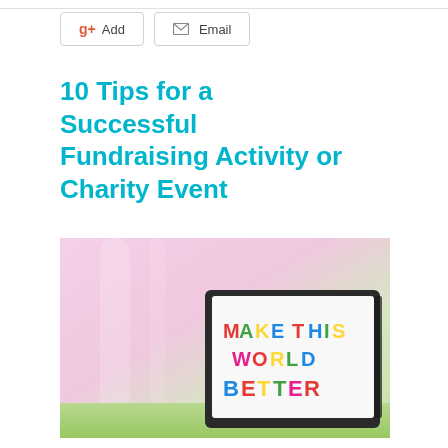[Figure (other): Two UI buttons: a Google+ Add button and an Email button]
10 Tips for a Successful Fundraising Activity or Charity Event
[Figure (photo): Photo of a light-box sign reading MAKE THIS WORLD BETTER in colorful letters, with a soft pink and green blurred background]